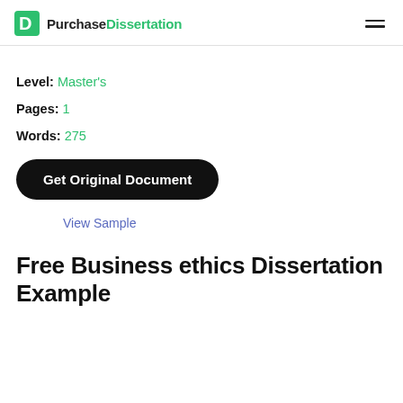PurchaseDissertation
Level: Master's
Pages: 1
Words: 275
Get Original Document
View Sample
Free Business ethics Dissertation Example